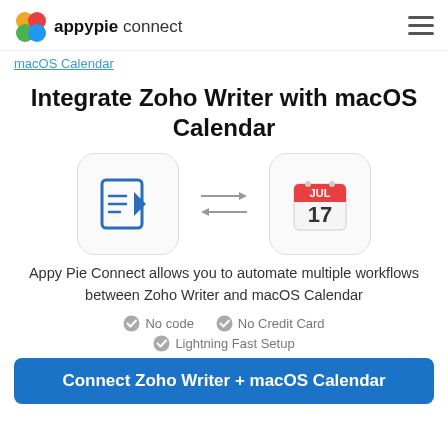appypie connect
macOS Calendar
Integrate Zoho Writer with macOS Calendar
[Figure (illustration): Two app icons side by side with bidirectional arrows between them. Left icon: Zoho Writer (blue document with arrow). Right icon: macOS Calendar showing JUL 17.]
Appy Pie Connect allows you to automate multiple workflows between Zoho Writer and macOS Calendar
No code  No Credit Card  Lightning Fast Setup
Connect Zoho Writer + macOS Calendar